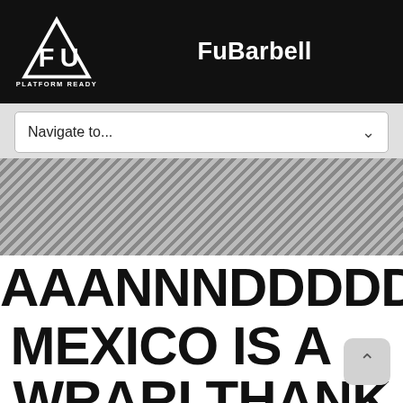FuBarbell
[Figure (logo): FU Platform Ready logo — white triangular emblem with stylized FU letters above text PLATFORM READY]
Navigate to...
[Figure (other): Diagonal hatched stripe band / decorative separator]
AAANNNDDDDD...
MEXICO IS A
WRARI THANK